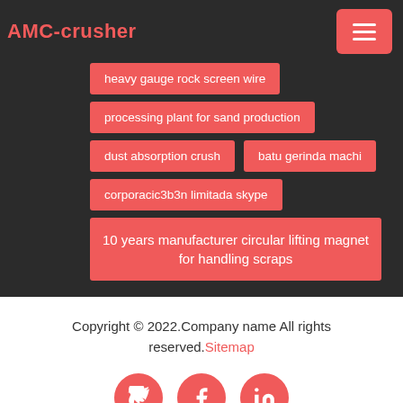AMC-crusher
heavy gauge rock screen wire
processing plant for sand production
dust absorption crush
batu gerinda machi
corporacic3b3n limitada skype
10 years manufacturer circular lifting magnet for handling scraps
Copyright © 2022.Company name All rights reserved. Sitemap